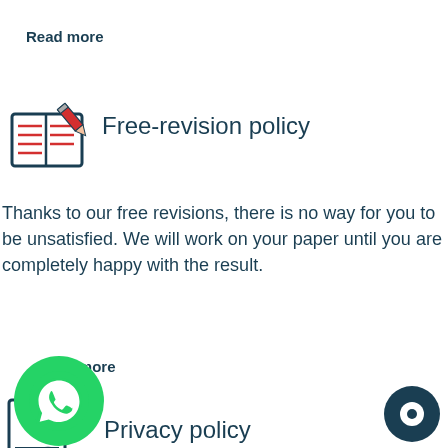Read more
[Figure (illustration): Icon of an open book with a pencil/pen, red lines on pages, dark teal outline]
Free-revision policy
Thanks to our free revisions, there is no way for you to be unsatisfied. We will work on your paper until you are completely happy with the result.
Read more
[Figure (illustration): Icon of a document with a person/key symbol and a padlock, red and dark teal outline]
Privacy policy
Your data is safe, as we store it according to international data protection rules. Your bank details are secure, as we use only